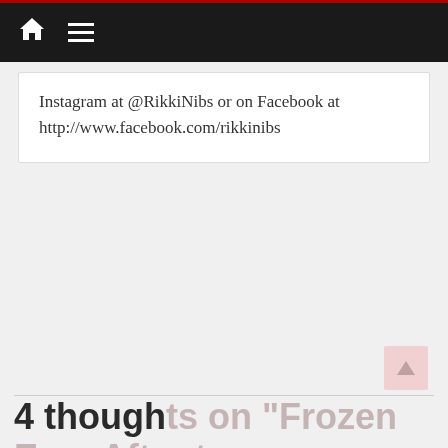Navigation bar with home and menu icons
Instagram at @RikkiNibs or on Facebook at http://www.facebook.com/rikkinibs
4 thoughts on "Frozen Ever After to